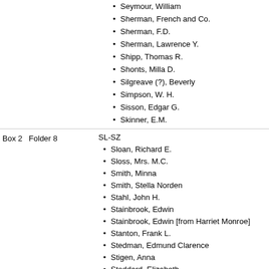Seymour, William
Sherman, French and Co.
Sherman, F.D.
Sherman, Lawrence Y.
Shipp, Thomas R.
Shonts, Milla D.
Silgreave (?), Beverly
Simpson, W. H.
Sisson, Edgar G.
Skinner, E.M.
Box 2   Folder 8
SL-SZ
Sloan, Richard E.
Sloss, Mrs. M.C.
Smith, Minna
Smith, Stella Norden
Stahl, John H.
Stainbrook, Edwin
Stainbrook, Edwin [from Harriet Monroe]
Stanton, Frank L.
Stedman, Edmund Clarence
Stigen, Anna
Stoddard, Elizabeth
Stone, Eligh Atkins
Stone, Herbert Stuart
Stocker, Matti D.